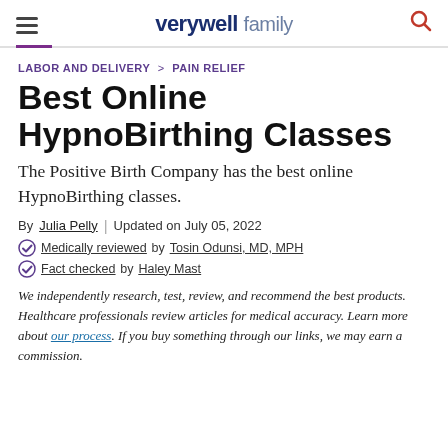verywell family
LABOR AND DELIVERY > PAIN RELIEF
Best Online HypnoBirthing Classes
The Positive Birth Company has the best online HypnoBirthing classes.
By Julia Pelly | Updated on July 05, 2022
Medically reviewed by Tosin Odunsi, MD, MPH
Fact checked by Haley Mast
We independently research, test, review, and recommend the best products. Healthcare professionals review articles for medical accuracy. Learn more about our process. If you buy something through our links, we may earn a commission.